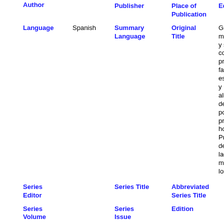| Field | Value | Field | Value | Field/Value |
| --- | --- | --- | --- | --- |
| Author |  | Publisher |  | Place of Publication / Editor |
| Language | Spanish | Summary Language |  | Original Title | Grac... los m... |
| Series Editor |  | Series Title |  | Abbreviated Series Title |  |
| Series Volume |  | Series Issue |  | Edition |  |
| ISSN | 0212-1611 | ISBN |  | Medium |  |